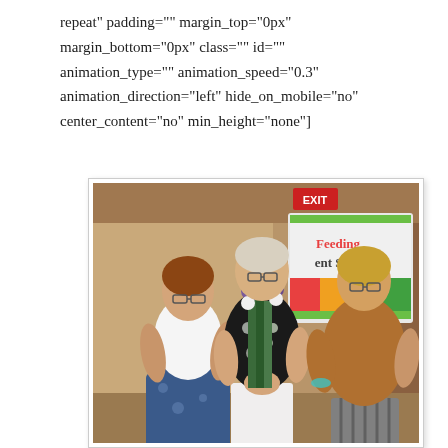repeat" padding="" margin_top="0px" margin_bottom="0px" class="" id="" animation_type="" animation_speed="0.3" animation_direction="left" hide_on_mobile="no" center_content="no" min_height="none"]
[Figure (photo): Three women posing together indoors at an event. The woman on the left wears a white top and blue patterned skirt. The woman in the middle wears a black and white floral top and holds a bouquet of purple and white flowers. The woman on the right wears a brown/tan blazer. Behind them is a banner partially reading 'Feeding ent Succ' (Feeding Student Success) with a green and colorful design. An EXIT sign is visible in the upper background.]